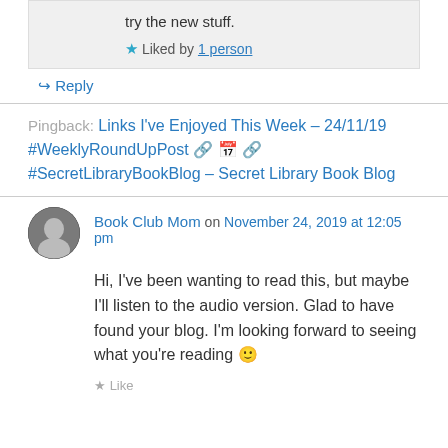try the new stuff.
★ Liked by 1 person
↳ Reply
Pingback: Links I've Enjoyed This Week – 24/11/19 #WeeklyRoundUpPost 🔗📅🔗 #SecretLibraryBookBlog – Secret Library Book Blog
Book Club Mom on November 24, 2019 at 12:05 pm
Hi, I've been wanting to read this, but maybe I'll listen to the audio version. Glad to have found your blog. I'm looking forward to seeing what you're reading 🙂